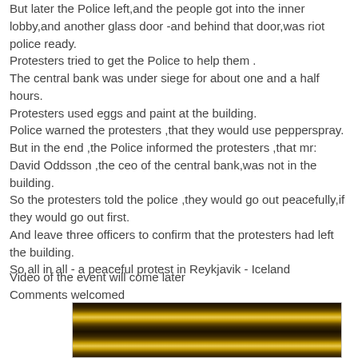But later the Police left,and the people got into the inner lobby,and another glass door -and behind that door,was riot police ready.
Protesters tried to get the Police to help them .
The central bank was under siege for about one and a half hours.
Protesters used eggs and paint at the building.
Police warned the protesters ,that they would use pepperspray.
But in the end ,the Police informed the protesters ,that mr: David Oddsson ,the ceo of the central bank,was not in the building.
So the protesters told the police ,they would go out peacefully,if they would go out first.
And leave three officers to confirm that the protesters had left the building.
So all in all - a peaceful protest in Reykjavik - Iceland
Video of the event will come later
Comments welcomed
[Figure (photo): Dark golden/amber colored image, appears to be a video still or photograph with horizontal banding of light and dark tones]